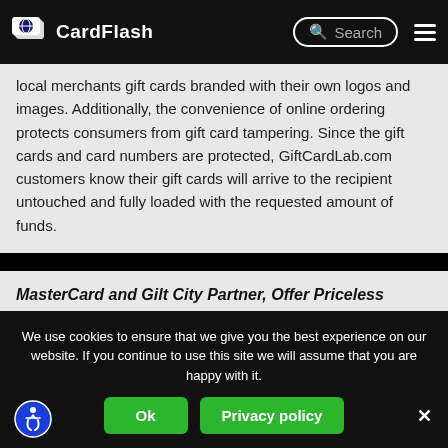CardFlash
local merchants gift cards branded with their own logos and images. Additionally, the convenience of online ordering protects consumers from gift card tampering. Since the gift cards and card numbers are protected, GiftCardLab.com customers know their gift cards will arrive to the recipient untouched and fully loaded with the requested amount of funds.
MasterCard and Gilt City Partner, Offer Priceless
We use cookies to ensure that we give you the best experience on our website. If you continue to use this site we will assume that you are happy with it.